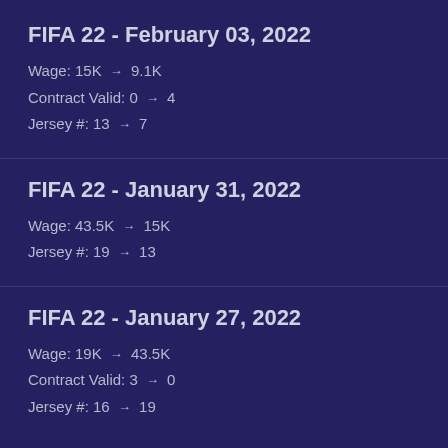FIFA 22 - February 03, 2022
Wage: 15K → 9.1K
Contract Valid: 0 → 4
Jersey #: 13 → 7
FIFA 22 - January 31, 2022
Wage: 43.5K → 15K
Jersey #: 19 → 13
FIFA 22 - January 27, 2022
Wage: 19K → 43.5K
Contract Valid: 3 → 0
Jersey #: 16 → 19